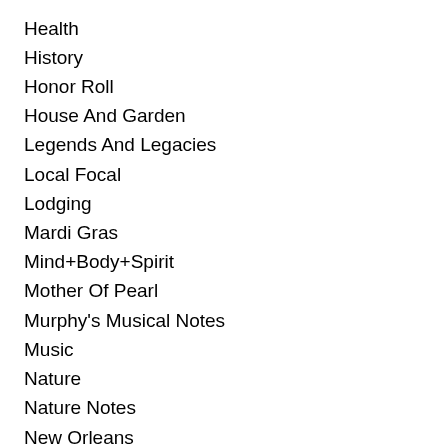Health
History
Honor Roll
House And Garden
Legends And Legacies
Local Focal
Lodging
Mardi Gras
Mind+Body+Spirit
Mother Of Pearl
Murphy's Musical Notes
Music
Nature
Nature Notes
New Orleans
News
Old Town Merchants
On The Shoofly
Parenting
Pass Christian